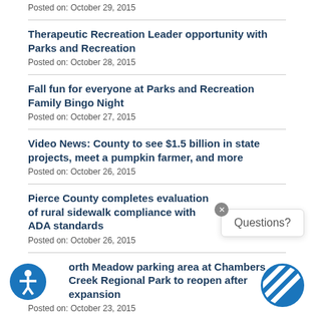Posted on: October 29, 2015
Therapeutic Recreation Leader opportunity with Parks and Recreation
Posted on: October 28, 2015
Fall fun for everyone at Parks and Recreation Family Bingo Night
Posted on: October 27, 2015
Video News: County to see $1.5 billion in state projects, meet a pumpkin farmer, and more
Posted on: October 26, 2015
Pierce County completes evaluation of rural sidewalk compliance with ADA standards
Posted on: October 26, 2015
North Meadow parking area at Chambers Creek Regional Park to reopen after expansion
Posted on: October 23, 2015